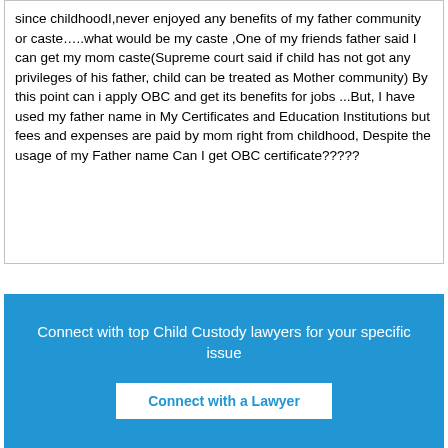since childhoodI,never enjoyed any benefits of my father community or caste…..what would be my caste ,One of my friends father said I can get my mom caste(Supreme court said if child has not got any privileges of his father, child can be treated as Mother community) By this point can i apply OBC and get its benefits for jobs ...But, I have used my father name in My Certificates and Education Institutions but fees and expenses are paid by mom right from childhood, Despite the usage of my Father name Can I get OBC certificate?????
Connect with top Child Custody lawyers for your specific issue
Connect with a Lawyer